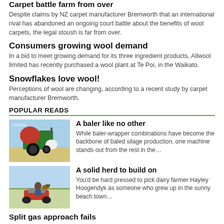Carpet battle farm from over
Despite claims by NZ carpet manufacturer Bremworth that an international rival has abandoned an ongoing court battle about the benefits of wool carpets, the legal stoush is far from over.
Consumers growing wool demand
In a bid to meet growing demand for its three ingredient products, Allwool limited has recently purchased a wool plant at Te Poi, in the Waikato.
Snowflakes love wool!
Perceptions of wool are changing, according to a recent study by carpet manufacturer Bremworth.
POPULAR READS
[Figure (photo): A baler-wrapper machine (red/green tractor) in a field]
A baler like no other
While baler-wrapper combinations have become the backbone of baled silage production, one machine stands out from the rest in the…
[Figure (photo): A person on an ATV/quad bike with a dog on a farm]
A solid herd to build on
You'd be hard pressed to pick dairy farmer Hayley Hoogendyk as someone who grew up in the sunny beach town…
Split gas approach fails